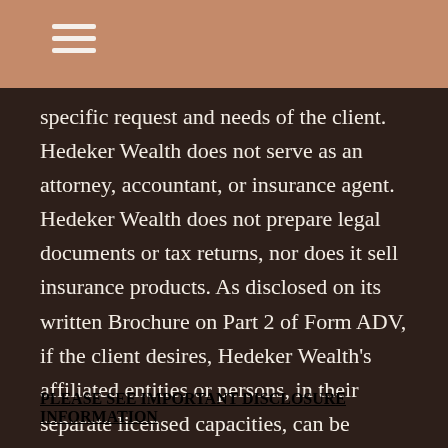specific request and needs of the client. Hedeker Wealth does not serve as an attorney, accountant, or insurance agent. Hedeker Wealth does not prepare legal documents or tax returns, nor does it sell insurance products. As disclosed on its written Brochure on Part 2 of Form ADV, if the client desires, Hedeker Wealth's affiliated entities or persons, in their separate licensed capacities, can be engaged to be provide tax preparation, insurance sales/services, and legal services, per the terms and conditions of a separate engagement and fee/compensation.
PLEASE SEE IMPORTANT DISCLOSURE INFORMATION